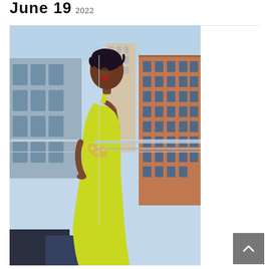June 19 2022
[Figure (photo): A woman in a yellow-green form-fitting gown standing on a high-rise balcony with city buildings visible in the background. She is posed with her back partially turned, showing the open back of the dress with embellishments at the waist. Her hair is dark and styled up.]